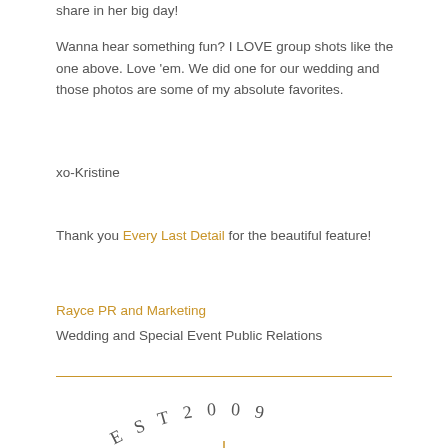share in her big day!
Wanna hear something fun? I LOVE group shots like the one above. Love 'em. We did one for our wedding and those photos are some of my absolute favorites.
xo-Kristine
Thank you Every Last Detail for the beautiful feature!
Rayce PR and Marketing
Wedding and Special Event Public Relations
[Figure (logo): EST 2009 curved text logo with a vertical gold line beneath]